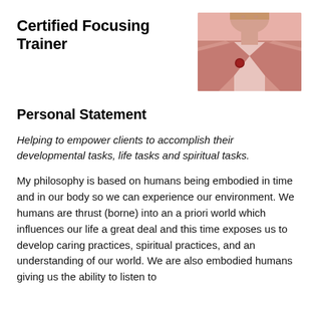Certified Focusing Trainer
[Figure (photo): Portrait photo of a person wearing a pink/salmon blazer with a red brooch, visible from shoulders up, cropped at top]
Personal Statement
Helping to empower clients to accomplish their developmental tasks, life tasks and spiritual tasks.
My philosophy is based on humans being embodied in time and in our body so we can experience our environment. We humans are thrust (borne) into an a priori world which influences our life a great deal and this time exposes us to develop caring practices, spiritual practices, and an understanding of our world. We are also embodied humans giving us the ability to listen to